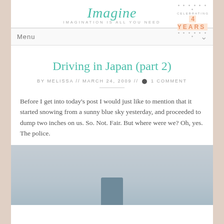Imagine — IMAGINATION IS ALL YOU NEED
[Figure (logo): Celebrating 4 Years badge with snowflake decoration in top right corner]
Driving in Japan (part 2)
BY MELISSA // MARCH 24, 2009 // 💬 1 COMMENT
Before I get into today's post I would just like to mention that it started snowing from a sunny blue sky yesterday, and proceeded to dump two inches on us. So. Not. Fair. But where were we? Oh, yes. The police.
[Figure (photo): Gray-toned photo, partially visible, showing what appears to be a road or building scene in Japan, with a blue object visible at the bottom]